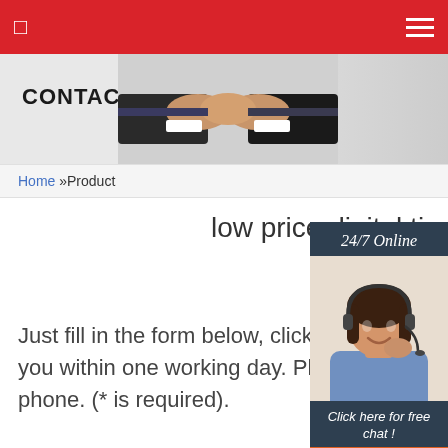Navigation bar with hamburger menu
[Figure (photo): Contact Us banner with handshake image and bold 'CONTACT US' text on grey background]
Home »Product
low price digital tire inflator pur light
[Figure (photo): 24/7 Online customer service widget showing a woman with headset, 'Click here for free chat!' text, and orange QUOTATION button]
Just fill in the form below, click submit, you will get the price list, we will contact you within one working day. Please also feel free to contact us via email or phone. (* is required).